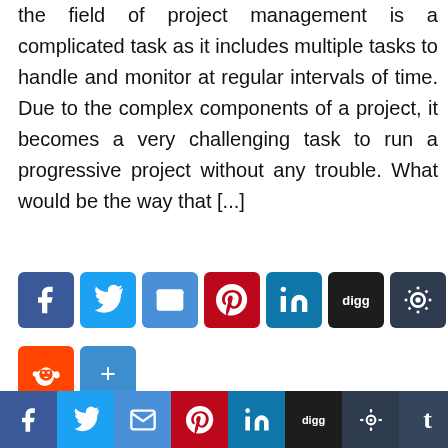the field of project management is a complicated task as it includes multiple tasks to handle and monitor at regular intervals of time. Due to the complex components of a project, it becomes a very challenging task to run a progressive project without any trouble. What would be the way that [...]
[Figure (infographic): Row of social sharing icon buttons: Facebook, Twitter, Email, Pinterest, LinkedIn, Digg, Stumbleupon, Tumblr (row 1), then Reddit and Share (row 2)]
Read More →
[Figure (infographic): Bottom bar of social sharing icon buttons: Facebook, Twitter, Email, Pinterest, LinkedIn, Digg, Stumbleupon, Tumblr, Reddit, Share, followed by Gantt Chart text]